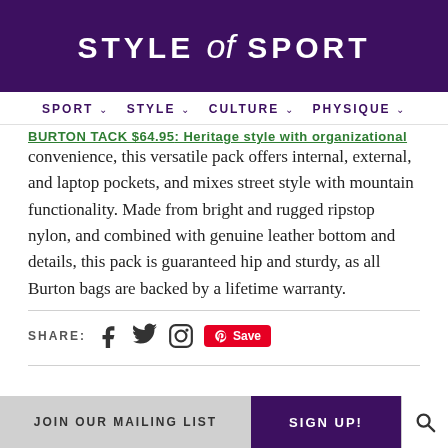STYLE of SPORT
SPORT  STYLE  CULTURE  PHYSIQUE
BURTON TACK $64.95: Heritage style with organizational convenience, this versatile pack offers internal, external, and laptop pockets, and mixes street style with mountain functionality. Made from bright and rugged ripstop nylon, and combined with genuine leather bottom and details, this pack is guaranteed hip and sturdy, as all Burton bags are backed by a lifetime warranty.
SHARE:
JOIN OUR MAILING LIST    SIGN UP!